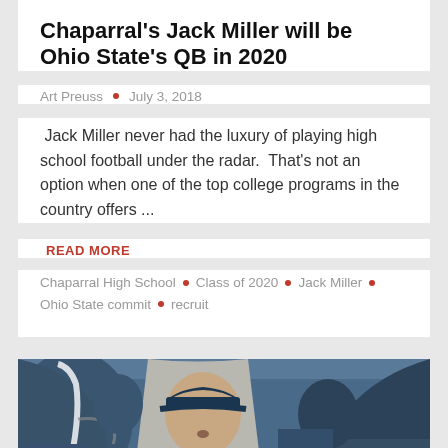Chaparral's Jack Miller will be Ohio State's QB in 2020
Art Preuss • July 3, 2018
Jack Miller never had the luxury of playing high school football under the radar.  That's not an option when one of the top college programs in the country offers ...
READ MORE
Chaparral High School • Class of 2020 • Jack Miller • Ohio State commit • recruit
[Figure (photo): Football players in navy blue helmets and uniforms on a field, with a coach in a gray shirt and blue cap in the foreground, mouth open as if speaking]